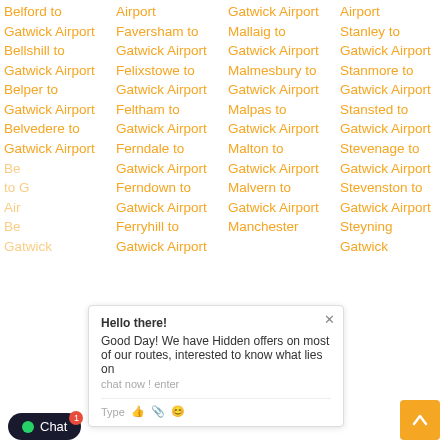Belford to Gatwick Airport
Bellshill to Gatwick Airport
Belper to Gatwick Airport
Belvedere to Gatwick Airport
Ferndale to Gatwick Airport
Ferndown to Gatwick Airport
Ferryhill to Gatwick Airport
Faversham to Gatwick Airport
Felixstowe to Gatwick Airport
Feltham to Gatwick Airport
Gatwick Airport
Mallaig to Gatwick Airport
Malmesbury to Gatwick Airport
Malpas to Gatwick Airport
Malton to Gatwick Airport
Malvern to Gatwick Airport
Manchester
Airport
Stanley to Gatwick Airport
Stanmore to Gatwick Airport
Stansted to Gatwick Airport
Stevenage to Gatwick Airport
Stevenston to Gatwick Airport
Steyning to Gatwick Airport